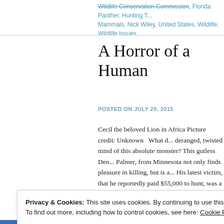Wildlife Conservation Commission, Florida Panther, Hunting T..., Mammals, Nick Wiley, United States, Wildlife, Wildlife Issues
A Horror of a Human
POSTED ON JULY 29, 2015
Cecil the beloved Lion in Africa Picture credit: Unknown   What d... deranged, twisted mind of this absolute monster? This gutless Den... Palmer, from Minnesota not only finds pleasure in killing, but is a... His latest victim, that he reportedly paid $55,000 to hunt, was a m... [...]
Privacy & Cookies: This site uses cookies. By continuing to use this website, you agree to their use. To find out more, including how to control cookies, see here: Cookie Policy Close and accept